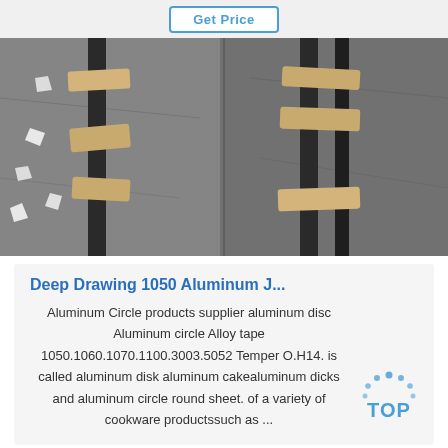Get Price
[Figure (photo): Industrial photo showing aluminum strips/bars on a concrete floor with wooden supports]
Deep Drawing 1050 Aluminum J...
Aluminum Circle products supplier aluminum disc Aluminum circle Alloy tape 1050.1060.1070.1100.3003.5052 Temper O.H14. is called aluminum disk aluminum cakealuminum dicks and aluminum circle round sheet. of a variety of cookware productssuch as ...